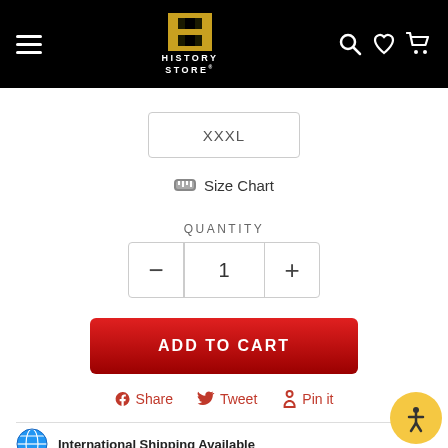History Store navigation header
XXXL
Size Chart
QUANTITY
1
ADD TO CART
Share
Tweet
Pin it
International Shipping Available